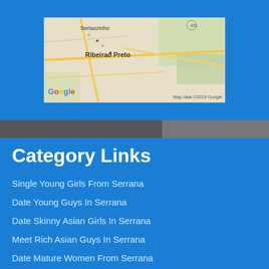[Figure (map): Google Maps screenshot showing Ribeirao Preto area in Brazil, with road networks and green areas visible. Map data ©2019 Google.]
Category Links
Single Young Girls From Serrana
Date Young Guys In Serrana
Date Skinny Asian Girls In Serrana
Meet Rich Asian Guys In Serrana
Date Mature Women From Serrana
Meet Single Jewish Guys From Serrana
Date Tattoo Girls From Serrana